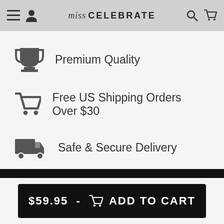Miss Celebrate
Premium Quality
Free US Shipping Orders Over $30
Safe & Secure Delivery
$59.95 - ADD TO CART